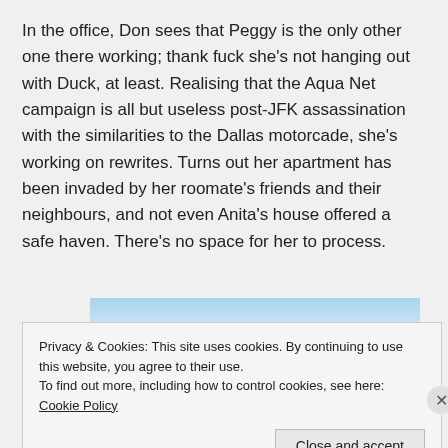In the office, Don sees that Peggy is the only other one there working; thank fuck she's not hanging out with Duck, at least. Realising that the Aqua Net campaign is all but useless post-JFK assassination with the similarities to the Dallas motorcade, she's working on rewrites. Turns out her apartment has been invaded by her roomate's friends and their neighbours, and not even Anita's house offered a safe haven. There's no space for her to process.
[Figure (other): Tumblr Ad-Free promotional banner with blue wave design and bold text reading TUMBLR AD-FREE]
Privacy & Cookies: This site uses cookies. By continuing to use this website, you agree to their use.
To find out more, including how to control cookies, see here: Cookie Policy
Close and accept